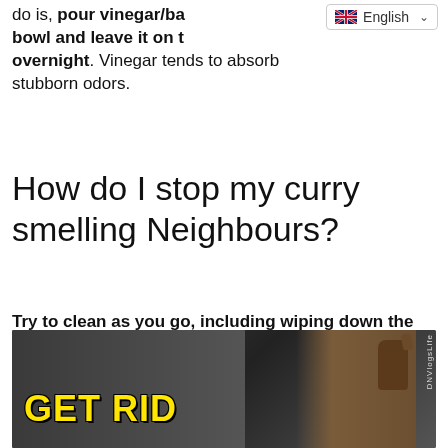do is, pour vinegar/baking soda in a bowl and leave it on the counter overnight. Vinegar tends to absorb stubborn odors.
How do I stop my curry smelling Neighbours?
Try to clean as you go, including wiping down the stove top and the adjoining wall when you're done, to limit the lasting scent. If you're expecting guests, it might help to finish your cooking of curries and other strong-smelling food the day before.
[Figure (photo): Video thumbnail showing a woman raising her fist with yellow bold text 'GET RID' overlaid, with watermark 'DNVlogsLife']